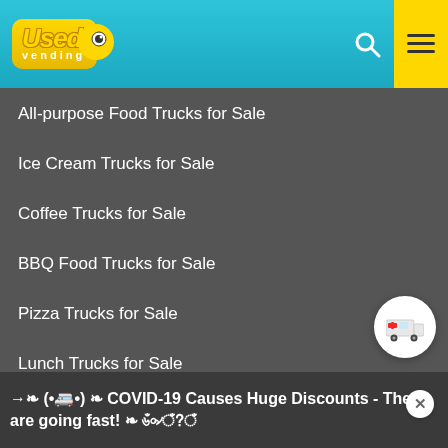[Figure (logo): UsedVending logo in yellow rounded box with teal header background, search icon and yellow hamburger menu button]
All-purpose Food Trucks for Sale
Ice Cream Trucks for Sale
Coffee Trucks for Sale
BBQ Food Trucks for Sale
Pizza Trucks for Sale
Lunch Trucks for Sale
Beverage Trucks for Sale
CONCESSION FOOD TRAILERS
Used Concession Food Trailers for Sale
Hot Dog Carts for Sale
BBQ Trailers for Sale
→ ❧ (•🚐•) ❧ COVID-19 Causes Huge Discounts - These are going fast! ❧ ৬ঁ৹৵ঁ?ঁ